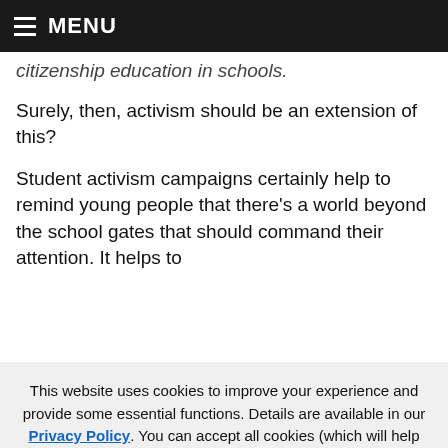MENU
citizenship education in schools.
Surely, then, activism should be an extension of this?
Student activism campaigns certainly help to remind young people that there’s a world beyond the school gates that should command their attention. It helps to
This website uses cookies to improve your experience and provide some essential functions. Details are available in our Privacy Policy. You can accept all cookies (which will help us understand how visitors interact with our website) or opt out of non-necessary cookies.